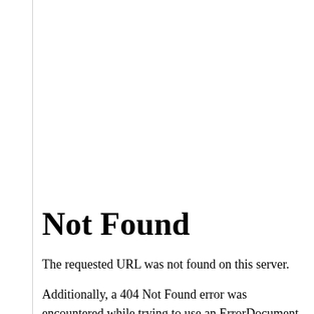Not Found
The requested URL was not found on this server.
Additionally, a 404 Not Found error was encountered while trying to use an ErrorDocument